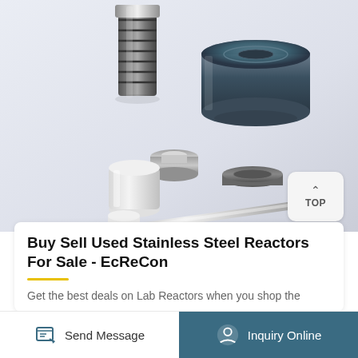[Figure (photo): Stainless steel reactor components laid out on a light gray surface: two cylindrical threaded vessels (one tall with carbon-fiber wrap, one short/wide), two disc-shaped end caps, one white PTFE liner vessel with cap, and one stainless steel cylindrical rod/stir bar.]
Buy Sell Used Stainless Steel Reactors For Sale - EcReCon
Get the best deals on Lab Reactors when you shop the
Send Message
Inquiry Online